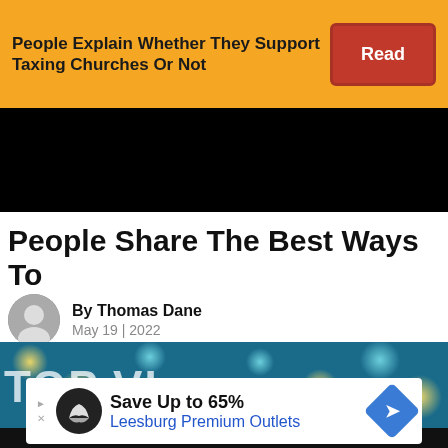[Figure (screenshot): Ad banner: 'People Explain Whether They Support Taxing Churches Or Not' with a red 'Read' button on yellow/orange background]
[Figure (logo): George Takei .com logo with cartoon mascot on teal navigation bar, with hamburger menu, search icon, and Sign Up button]
People Share The Best Ways To Answer A Call From A Scammer
By Thomas Dane
May 19 | 2022
[Figure (photo): Hero image showing colorful bokeh lights background with text overlays and a person wearing a cap]
[Figure (screenshot): Advertisement: Save Up to 65% Leesburg Premium Outlets]